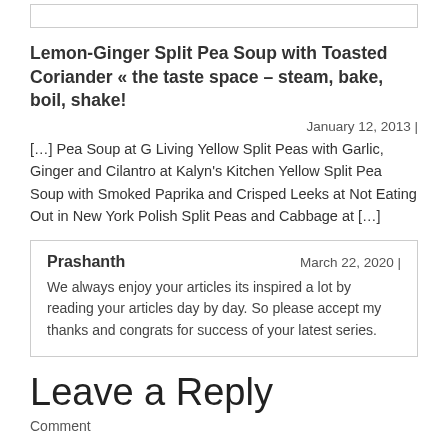Lemon-Ginger Split Pea Soup with Toasted Coriander « the taste space – steam, bake, boil, shake!
January 12, 2013 |
[…] Pea Soup at G Living Yellow Split Peas with Garlic, Ginger and Cilantro at Kalyn's Kitchen Yellow Split Pea Soup with Smoked Paprika and Crisped Leeks at Not Eating Out in New York Polish Split Peas and Cabbage at […]
Prashanth
March 22, 2020 |
We always enjoy your articles its inspired a lot by reading your articles day by day. So please accept my thanks and congrats for success of your latest series.
Leave a Reply
Comment